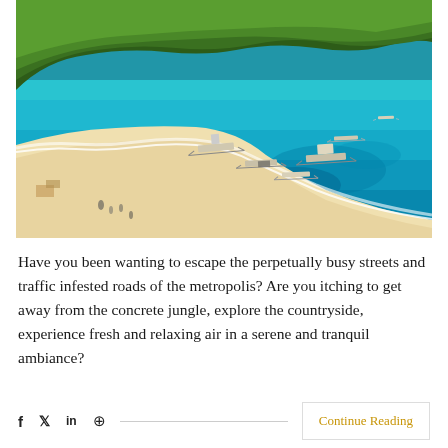[Figure (photo): Aerial view of a tropical beach with white sand, turquoise blue water, outrigger boats near shore, and lush green palm-covered hills in the background. Philippines beach scene.]
Have you been wanting to escape the perpetually busy streets and traffic infested roads of the metropolis? Are you itching to get away from the concrete jungle, explore the countryside, experience fresh and relaxing air in a serene and tranquil ambiance?